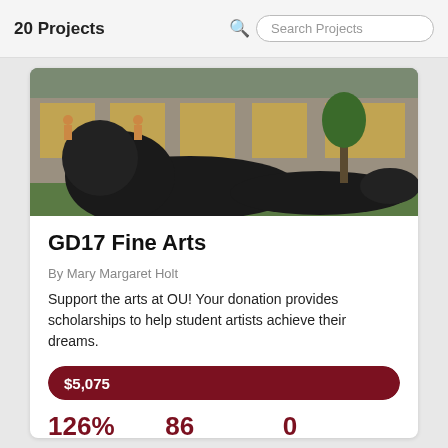20 Projects
[Figure (photo): Outdoor sculpture of a large black figure lying on grass in front of a building with windows, photographed at dusk]
GD17 Fine Arts
By Mary Margaret Holt
Support the arts at OU! Your donation provides scholarships to help student artists achieve their dreams.
$5,075
126% Funded   86 Donors   0 days left